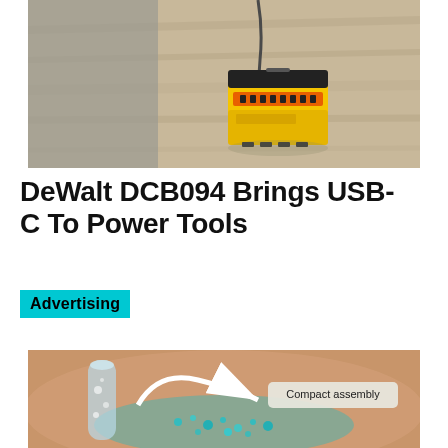[Figure (photo): DeWalt yellow power tool battery adapter on a wooden surface with a USB-C cable plugged in, grey background wall visible]
DeWalt DCB094 Brings USB-C To Power Tools
Advertising
[Figure (photo): Close-up of a person's wrist/arm with a medical device attached, showing teal/turquoise particles on skin, with a white arrow and callout bubble reading 'Compact assembly']